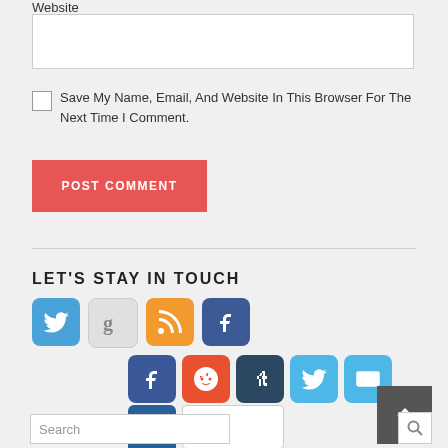Website
Save My Name, Email, And Website In This Browser For The Next Time I Comment.
POST COMMENT
LET'S STAY IN TOUCH
[Figure (other): Social media icons row 1: Twitter, Google+, RSS, Facebook]
[Figure (other): Social media icons row 2: Facebook, Reddit, Tumblr, Twitter, Mail]
[Figure (other): Social sharing icons: AddThis, blank]
Search